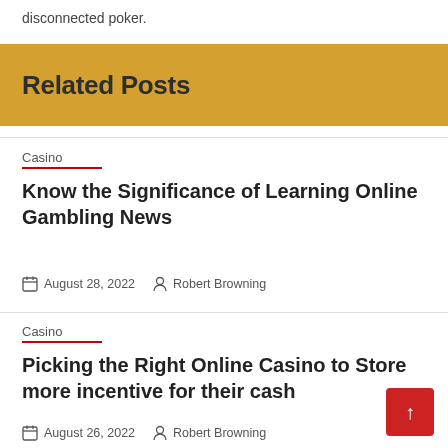disconnected poker.
Related Posts
Casino
Know the Significance of Learning Online Gambling News
August 28, 2022  Robert Browning
Casino
Picking the Right Online Casino to Store more incentive for their cash
August 26, 2022  Robert Browning